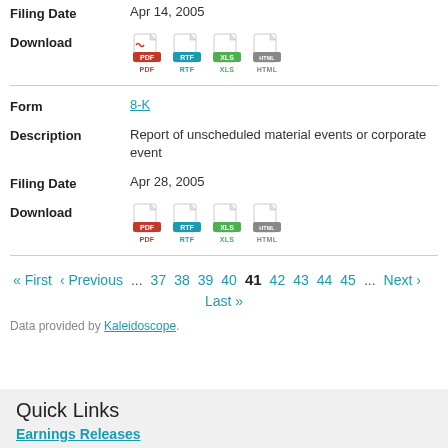Filing Date: Apr 14, 2005
Download: PDF, RTF, XLS, HTML
Form: 8-K
Description: Report of unscheduled material events or corporate event
Filing Date: Apr 28, 2005
Download: PDF, RTF, XLS, HTML
« First ‹ Previous ... 37 38 39 40 41 42 43 44 45 ... Next › Last »
Data provided by Kaleidoscope.
Quick Links
Earnings Releases